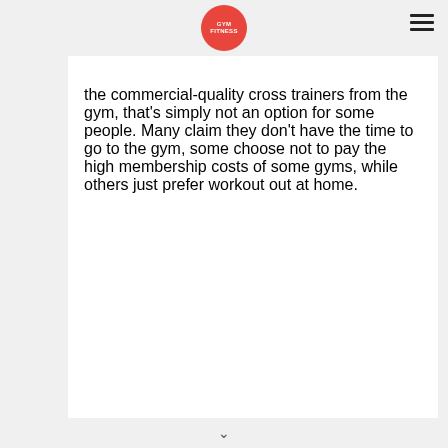GYM FITNESS
the commercial-quality cross trainers from the gym, that's simply not an option for some people. Many claim they don't have the time to go to the gym, some choose not to pay the high membership costs of some gyms, while others just prefer workout out at home.